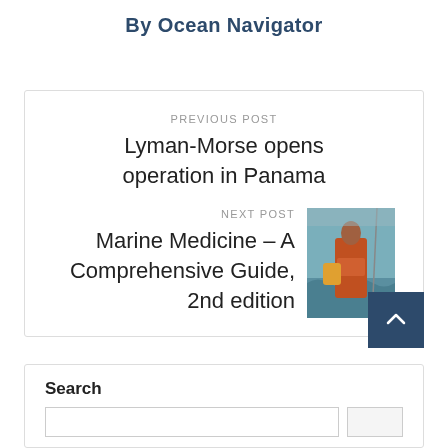By Ocean Navigator
PREVIOUS POST
Lyman-Morse opens operation in Panama
NEXT POST
Marine Medicine – A Comprehensive Guide, 2nd edition
[Figure (photo): Person in orange life jacket on a sailing vessel in rough weather]
Search